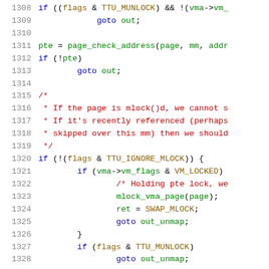[Figure (screenshot): Source code listing lines 1308-1328 of a C kernel file showing mlock/munlock logic with syntax highlighting. Line numbers in gray on the left, keywords in blue, comments in red, function names/identifiers in green, constants in dark yellow/brown.]